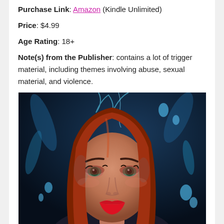Purchase Link: Amazon (Kindle Unlimited)
Price: $4.99
Age Rating: 18+
Note(s) from the Publisher: contains a lot of trigger material, including themes involving abuse, sexual material, and violence.
[Figure (photo): Book cover or promotional photo showing a young woman with long auburn/red hair, dramatic makeup with red lips and smoky eyes, set against a dark blue background with water droplets and splashes, giving a fantasy/paranormal aesthetic.]